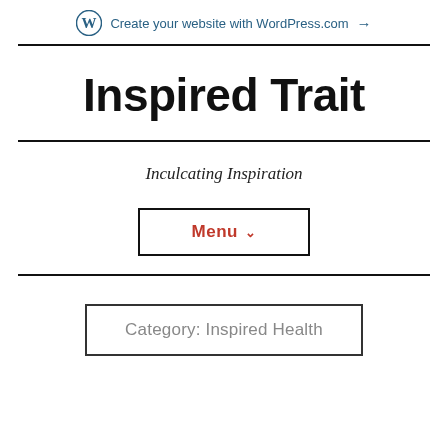Create your website with WordPress.com →
Inspired Trait
Inculcating Inspiration
Menu ∨
Category: Inspired Health